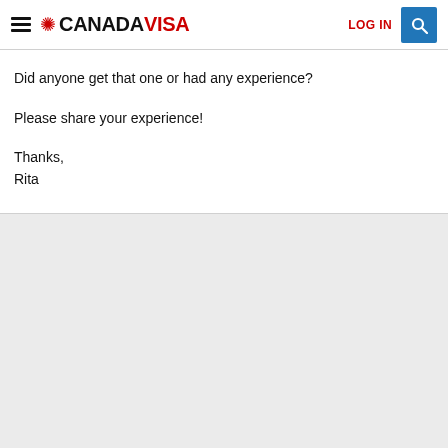CANADAVISA | LOG IN
Did anyone get that one or had any experience?

Please share your experience!

Thanks,
Rita